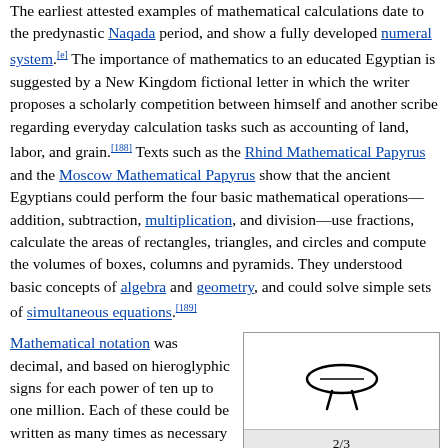The earliest attested examples of mathematical calculations date to the predynastic Naqada period, and show a fully developed numeral system.[e] The importance of mathematics to an educated Egyptian is suggested by a New Kingdom fictional letter in which the writer proposes a scholarly competition between himself and another scribe regarding everyday calculation tasks such as accounting of land, labor, and grain.[188] Texts such as the Rhind Mathematical Papyrus and the Moscow Mathematical Papyrus show that the ancient Egyptians could perform the four basic mathematical operations—addition, subtraction, multiplication, and division—use fractions, calculate the areas of rectangles, triangles, and circles and compute the volumes of boxes, columns and pyramids. They understood basic concepts of algebra and geometry, and could solve simple sets of simultaneous equations.[189]
Mathematical notation was decimal, and based on hieroglyphic signs for each power of ten up to one million. Each of these could be written as many times as necessary to add up to the desired number; so to write the number eighty or eight hundred, the symbol for ten or one hundred was written eight times respectively.[190] Because their methods of calculation could not handle most fractions with a numerator greater than one, they
[Figure (illustration): Egyptian hieroglyph showing a symbol resembling an eye or lens shape with two legs beneath it, representing a fraction 2/3. Displayed in an infobox with label '2/3' and caption 'Egyptian hieroglyphs'.]